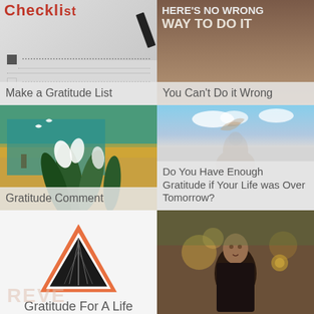[Figure (illustration): Checklist image with red title text and dotted lines and checkboxes]
Make a Gratitude List
[Figure (photo): Dark brown background with white/light bold text reading 'HERE'S NO WRONG WAY TO DO IT']
You Can't Do it Wrong
[Figure (illustration): Colorful painting with tropical plants, white flowers, and birds on golden/teal background]
Gratitude Comment
[Figure (illustration): Sky background with cloudy blue sky, silhouetted dove or angel figure overlay]
Do You Have Enough Gratitude if Your Life was Over Tomorrow?
[Figure (illustration): Orange and black triangular yield/road sign with road perspective inside]
Gratitude For A Life
[Figure (photo): Photograph of an older Asian man in dark robes outdoors]